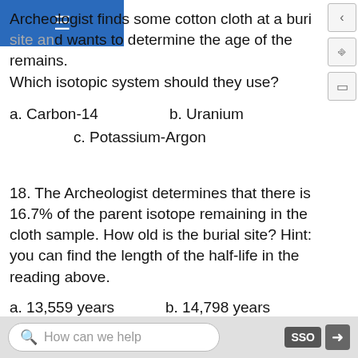Archeologist finds some cotton cloth at a burial site and wants to determine the age of the remains. Which isotopic system should they use?
a. Carbon-14    b. Uranium    c. Potassium-Argon
18. The Archeologist determines that there is 16.7% of the parent isotope remaining in the cloth sample. How old is the burial site? Hint: you can find the length of the half-life in the reading above.
a. 13,559 years    b. 14,798 years    c. 16,743 years    d. 1.66 billion years    e. 1.81 billion years    f.
How can we help    SSO